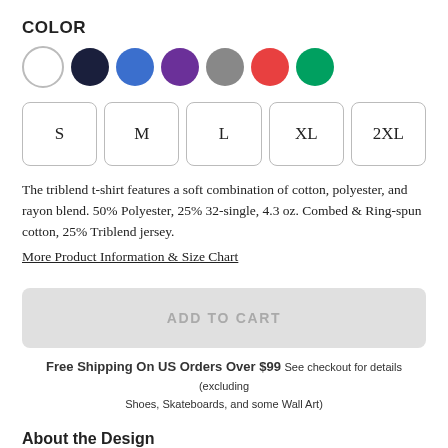COLOR
[Figure (other): Color swatches: white, navy, blue, purple, gray, red, green]
[Figure (other): Size selection buttons: S, M, L, XL, 2XL]
The triblend t-shirt features a soft combination of cotton, polyester, and rayon blend. 50% Polyester, 25% 32-single, 4.3 oz. Combed & Ring-spun cotton, 25% Triblend jersey.
More Product Information & Size Chart
[Figure (other): ADD TO CART button (grayed out)]
Free Shipping On US Orders Over $99 See checkout for details (excluding Shoes, Skateboards, and some Wall Art)
About the Design
Pen drawing from The Shit people say series